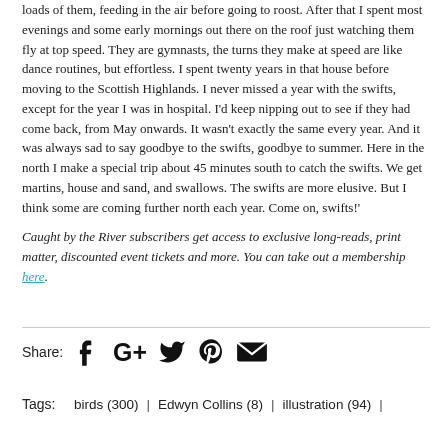loads of them, feeding in the air before going to roost. After that I spent most evenings and some early mornings out there on the roof just watching them fly at top speed. They are gymnasts, the turns they make at speed are like dance routines, but effortless. I spent twenty years in that house before moving to the Scottish Highlands. I never missed a year with the swifts, except for the year I was in hospital. I'd keep nipping out to see if they had come back, from May onwards. It wasn't exactly the same every year. And it was always sad to say goodbye to the swifts, goodbye to summer. Here in the north I make a special trip about 45 minutes south to catch the swifts. We get martins, house and sand, and swallows. The swifts are more elusive. But I think some are coming further north each year. Come on, swifts!'
Caught by the River subscribers get access to exclusive long-reads, print matter, discounted event tickets and more. You can take out a membership here.
Share: [Facebook] [Google+] [Twitter] [Pinterest] [Email]
Tags: birds (300) | Edwyn Collins (8) | illustration (94) |